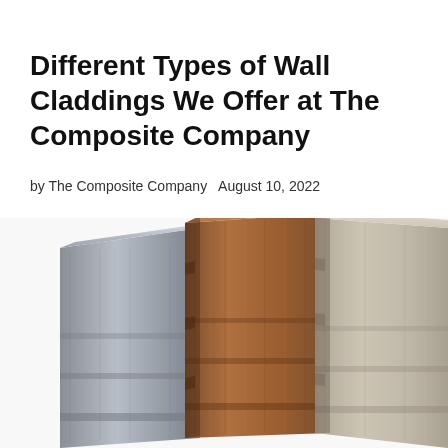Different Types of Wall Claddings We Offer at The Composite Company
by The Composite Company   August 10, 2022
[Figure (photo): Three composite wall cladding panels shown end-on in overlapping perspective: left panel is silver/grey with wood-grain texture, middle panel is medium brown with wood-grain texture, right panel is light beige/greige with wood-grain texture. The panels show their interlocking tongue-and-groove profile edges.]